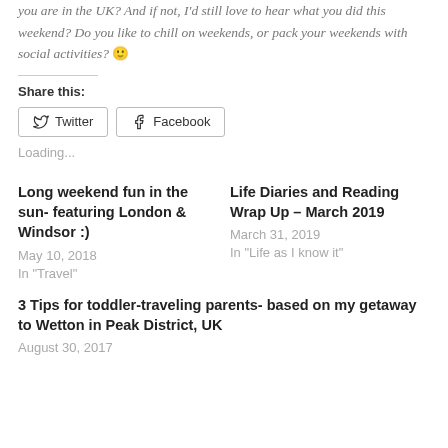you are in the UK? And if not, I'd still love to hear what you did this weekend? Do you like to chill on weekends, or pack your weekends with social activities? 🙂
Share this:
Twitter  Facebook
Loading...
Long weekend fun in the sun- featuring London & Windsor :)
May 10, 2018
In "Travel"
Life Diaries and Reading Wrap Up – March 2019
March 31, 2019
In "Life as I know it"
3 Tips for toddler-traveling parents- based on my getaway to Wetton in Peak District, UK
August 30, 2017